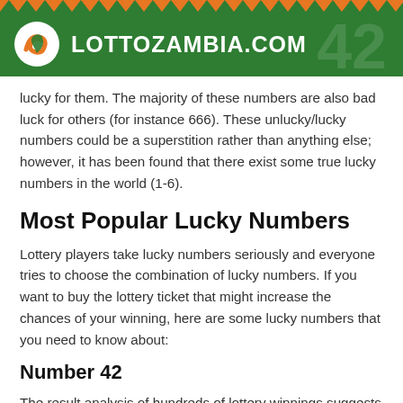LOTTOZAMBIA.COM
lucky for them. The majority of these numbers are also bad luck for others (for instance 666). These unlucky/lucky numbers could be a superstition rather than anything else; however, it has been found that there exist some true lucky numbers in the world (1-6).
Most Popular Lucky Numbers
Lottery players take lucky numbers seriously and everyone tries to choose the combination of lucky numbers. If you want to buy the lottery ticket that might increase the chances of your winning, here are some lucky numbers that you need to know about:
Number 42
The result analysis of hundreds of lottery winnings suggests that